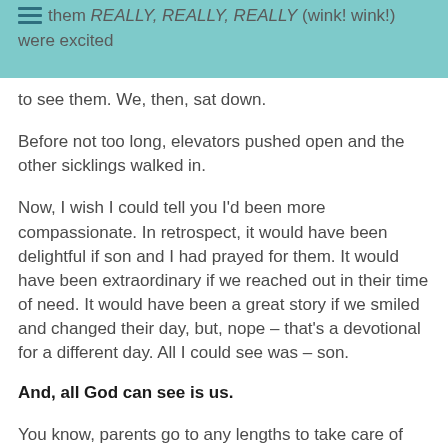his tears and us not wanting to be exposed to the flu. I told them we REALLY, REALLY, REALLY (wink! wink!) were excited to see them. We, then, sat down.
Before not too long, elevators pushed open and the other sicklings walked in.
Now, I wish I could tell you I'd been more compassionate. In retrospect, it would have been delightful if son and I had prayed for them. It would have been extraordinary if we reached out in their time of need. It would have been a great story if we smiled and changed their day, but, nope – that's a devotional for a different day. All I could see was – son.
And, all God can see is us.
You know, parents go to any lengths to take care of kids in trouble.